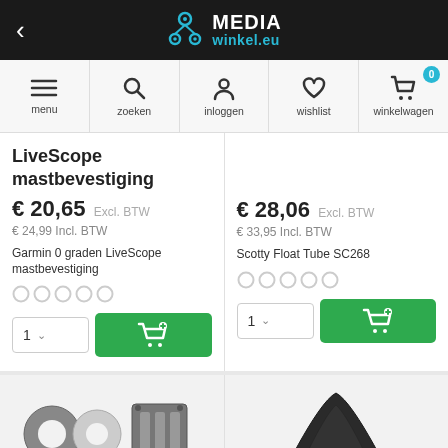Media winkel.eu
menu | zoeken | inloggen | wishlist | winkelwagen (0)
LiveScope mastbevestiging
€ 20,65 Excl. BTW
€ 24,99 Incl. BTW
Garmin 0 graden LiveScope mastbevestiging
Scotty Float Tube SC268
€ 28,06 Excl. BTW
€ 33,95 Incl. BTW
[Figure (photo): Product image showing grey ring/washer parts and a rectangular component]
[Figure (photo): Product image showing a dark triangular/cone-shaped object]